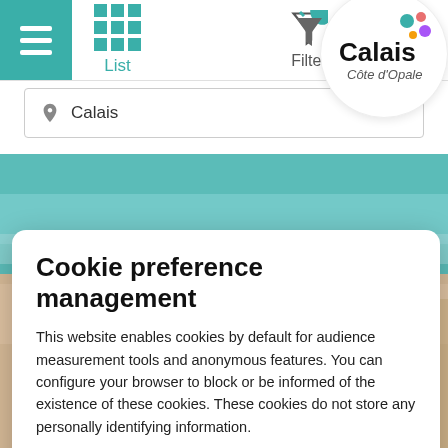[Figure (screenshot): Mobile app navigation bar with hamburger menu (teal background), grid/list view toggle, and Filter button]
[Figure (logo): Calais Côte d'Opale logo in a white circle with colorful dots]
Calais
[Figure (photo): Beach and sea aerial photo background]
Cookie preference management
This website enables cookies by default for audience measurement tools and anonymous features. You can configure your browser to block or be informed of the existence of these cookies. These cookies do not store any personally identifying information.
Read more
No thanks
I choose
Ok for me